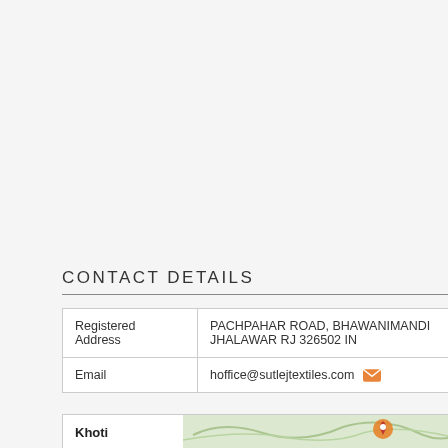CONTACT DETAILS
|  |  |
| --- | --- |
| Registered Address | PACHPAHAR ROAD, BHAWANIMANDI JHALAWAR RJ 326502 IN |
| Email | hoffice@sutlejtextiles.com |
Khoti